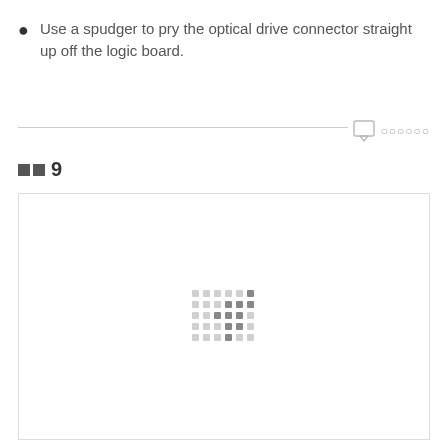Use a spudger to pry the optical drive connector straight up off the logic board.
[Figure (other): Loading spinner / placeholder image with small dot grid pattern in center, inside a bordered rectangle representing an image loading area]
步骤 9